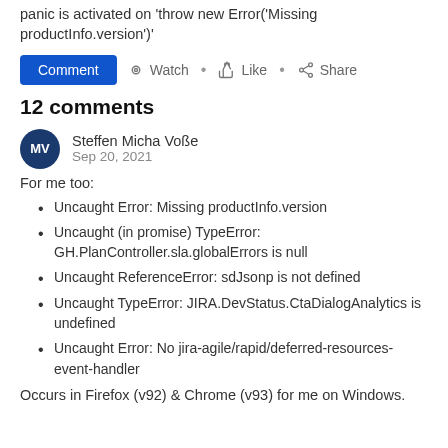panic is activated on 'throw new Error('Missing productInfo.version')'
Comment · Watch · Like · Share
12 comments
Steffen Micha Voße
Sep 20, 2021
For me too:
Uncaught Error: Missing productInfo.version
Uncaught (in promise) TypeError: GH.PlanController.sla.globalErrors is null
Uncaught ReferenceError: sdJsonp is not defined
Uncaught TypeError: JIRA.DevStatus.CtaDialogAnalytics is undefined
Uncaught Error: No jira-agile/rapid/deferred-resources-event-handler
Occurs in Firefox (v92) & Chrome (v93) for me on Windows.